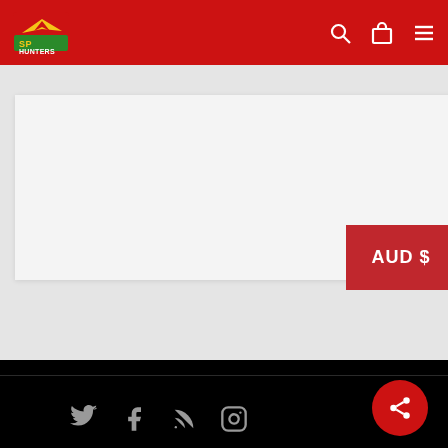SP Hunters website header with logo and navigation icons
[Figure (screenshot): SP Hunters logo — stylized bird/aircraft with 'SP HUNTERS' text in red/yellow/green]
AUD $
[Figure (screenshot): White/light gray content card area on gray background]
Social media icons: Twitter, Facebook, RSS, Instagram. Share button (red circle with share icon).